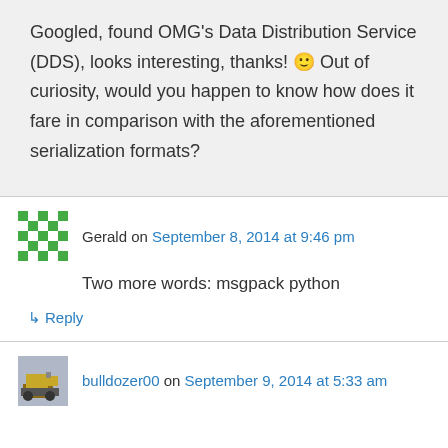Googled, found OMG's Data Distribution Service (DDS), looks interesting, thanks! 🙂 Out of curiosity, would you happen to know how does it fare in comparison with the aforementioned serialization formats?
Gerald on September 8, 2014 at 9:46 pm
Two more words: msgpack python
↳ Reply
bulldozer00 on September 9, 2014 at 5:33 am